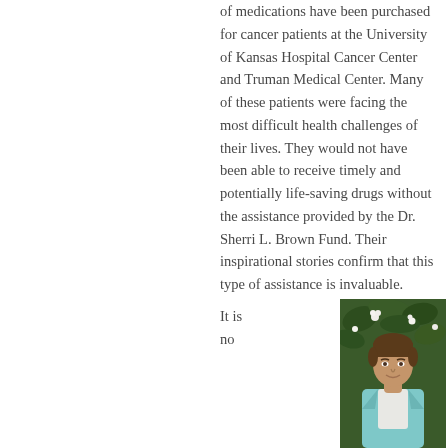of medications have been purchased for cancer patients at the University of Kansas Hospital Cancer Center and Truman Medical Center. Many of these patients were facing the most difficult health challenges of their lives. They would not have been able to receive timely and potentially life-saving drugs without the assistance provided by the Dr. Sherri L. Brown Fund. Their inspirational stories confirm that this type of assistance is invaluable.
It is no
[Figure (photo): Portrait photograph of a man in a light blue/teal blazer with white shirt, standing in front of green foliage with white flowers. He has brown hair and is looking at the camera.]